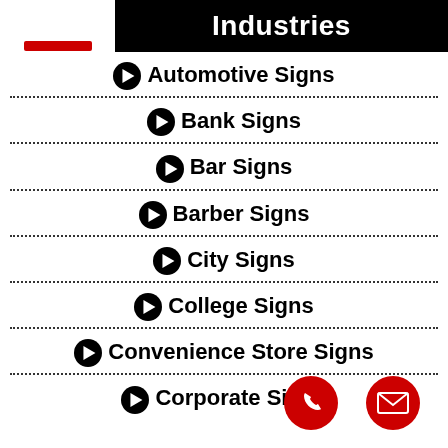Industries
Automotive Signs
Bank Signs
Bar Signs
Barber Signs
City Signs
College Signs
Convenience Store Signs
Corporate Signs
[Figure (infographic): Red phone button and red email envelope button at bottom right of page]